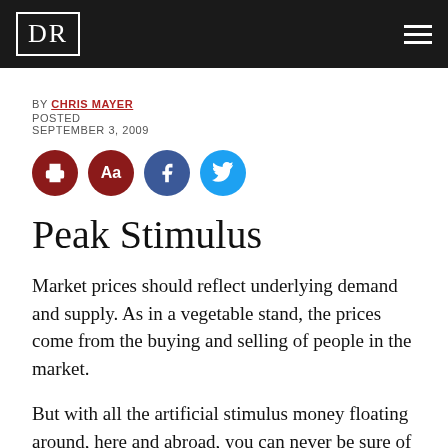DR
BY CHRIS MAYER
POSTED
SEPTEMBER 3, 2009
[Figure (infographic): Four circular icon buttons: print (dark red), font size Aa (dark red), Facebook (blue), Twitter (light blue)]
Peak Stimulus
Market prices should reflect underlying demand and supply. As in a vegetable stand, the prices come from the buying and selling of people in the market.
But with all the artificial stimulus money floating around, here and abroad, you can never be sure of